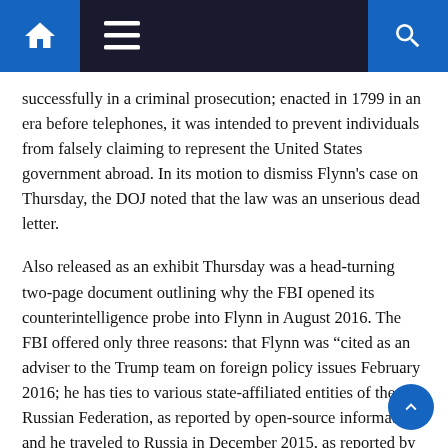Navigation bar with home, menu, and search icons
successfully in a criminal prosecution; enacted in 1799 in an era before telephones, it was intended to prevent individuals from falsely claiming to represent the United States government abroad. In its motion to dismiss Flynn’s case on Thursday, the DOJ noted that the law was an unserious dead letter.
Also released as an exhibit Thursday was a head-turning two-page document outlining why the FBI opened its counterintelligence probe into Flynn in August 2016. The FBI offered only three reasons: that Flynn was “cited as an adviser to the Trump team on foreign policy issues February 2016; he has ties to various state-affiliated entities of the Russian Federation, as reported by open-source information; and he traveled to Russia in December 2015, as reported by open-source information.”